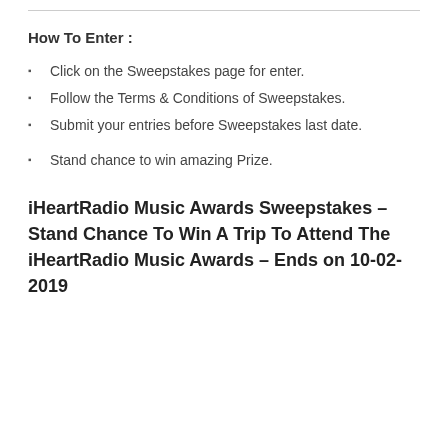How To Enter :
Click on the Sweepstakes page for enter.
Follow the Terms & Conditions of Sweepstakes.
Submit your entries before Sweepstakes last date.
Stand chance to win amazing Prize.
iHeartRadio Music Awards Sweepstakes – Stand Chance To Win A Trip To Attend The iHeartRadio Music Awards – Ends on 10-02-2019